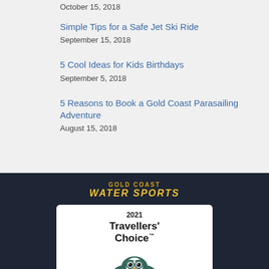October 15, 2018
Simple Tips for a Safe Jet Ski Ride
September 15, 2018
5 Cool Ideas for Kids Birthdays
September 5, 2018
5 Reasons to Book a Gold Coast Parasailing Adventure
August 15, 2018
[Figure (logo): Gold Coast Water Sports logo in gold/yellow italic text on dark navy background]
[Figure (other): TripAdvisor 2021 Travellers' Choice award badge with owl logo on white card]